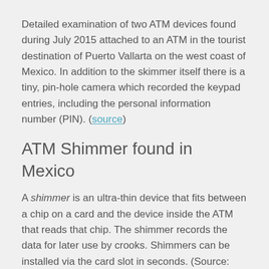Detailed examination of two ATM devices found during July 2015 attached to an ATM in the tourist destination of Puerto Vallarta on the west coast of Mexico. In addition to the skimmer itself there is a tiny, pin-hole camera which recorded the keypad entries, including the personal information number (PIN). (source)
ATM Shimmer found in Mexico
A shimmer is an ultra-thin device that fits between a chip on a card and the device inside the ATM that reads that chip. The shimmer records the data for later use by crooks. Shimmers can be installed via the card slot in seconds. (Source: KrebsOnSecurity includes pictures of the shimmer)
More shimmers!